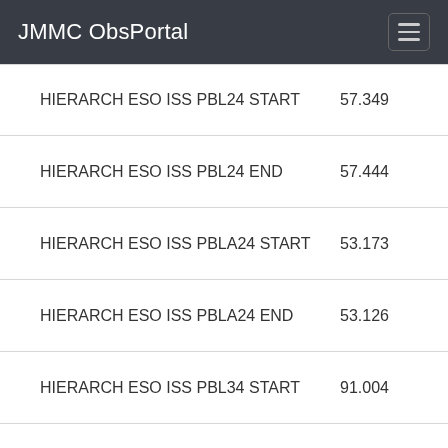JMMC ObsPortal
| Key | Value |
| --- | --- |
| HIERARCH ESO ISS PBL24 START | 57.349 |
| HIERARCH ESO ISS PBL24 END | 57.444 |
| HIERARCH ESO ISS PBLA24 START | 53.173 |
| HIERARCH ESO ISS PBLA24 END | 53.126 |
| HIERARCH ESO ISS PBL34 START | 91.004 |